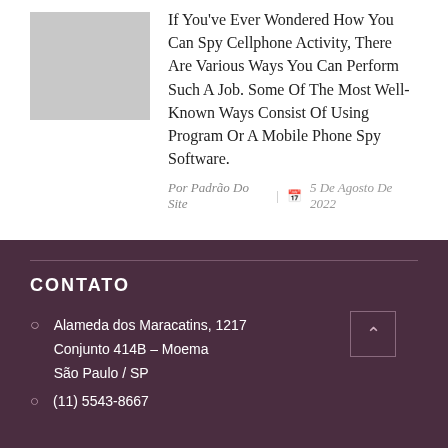[Figure (photo): Gray placeholder image rectangle]
If You've Ever Wondered How You Can Spy Cellphone Activity, There Are Various Ways You Can Perform Such A Job. Some Of The Most Well-Known Ways Consist Of Using Program Or A Mobile Phone Spy Software.
Por Padrão Do Site | 5 De Agosto De 2022
CONTATO
Alameda dos Maracatins, 1217
Conjunto 414B – Moema
São Paulo / SP
(11) 5543-8667